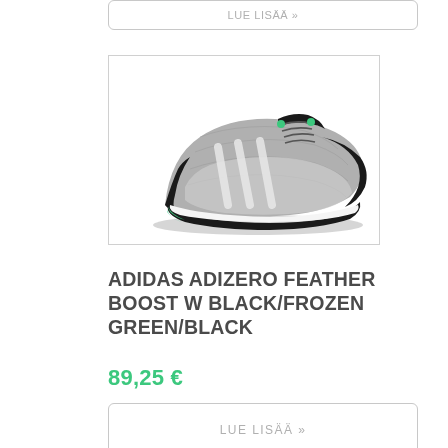LUE LISÄÄ »
[Figure (photo): Adidas Adizero Feather Boost W running shoe in black, grey, and frozen green colorway, shown from the side on white background]
ADIDAS ADIZERO FEATHER BOOST W BLACK/FROZEN GREEN/BLACK
89,25 €
LUE LISÄÄ »